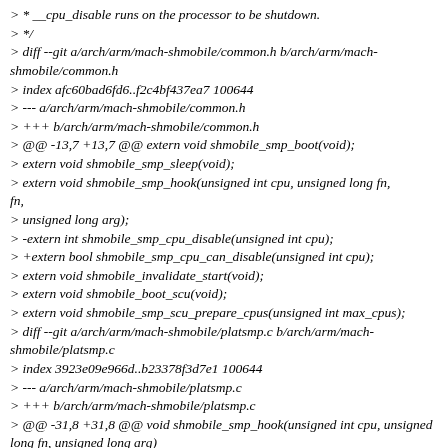> * __cpu_disable runs on the processor to be shutdown.
> */
> diff --git a/arch/arm/mach-shmobile/common.h b/arch/arm/mach-shmobile/common.h
> index afc60bad6fd6..f2c4bf437ea7 100644
> --- a/arch/arm/mach-shmobile/common.h
> +++ b/arch/arm/mach-shmobile/common.h
> @@ -13,7 +13,7 @@ extern void shmobile_smp_boot(void);
> extern void shmobile_smp_sleep(void);
> extern void shmobile_smp_hook(unsigned int cpu, unsigned long fn,
> unsigned long arg);
> -extern int shmobile_smp_cpu_disable(unsigned int cpu);
> +extern bool shmobile_smp_cpu_can_disable(unsigned int cpu);
> extern void shmobile_invalidate_start(void);
> extern void shmobile_boot_scu(void);
> extern void shmobile_smp_scu_prepare_cpus(unsigned int max_cpus);
> diff --git a/arch/arm/mach-shmobile/platsmp.c b/arch/arm/mach-shmobile/platsmp.c
> index 3923e09e966d..b23378f3d7e1 100644
> --- a/arch/arm/mach-shmobile/platsmp.c
> +++ b/arch/arm/mach-shmobile/platsmp.c
> @@ -31,8 +31,8 @@ void shmobile_smp_hook(unsigned int cpu, unsigned long fn, unsigned long arg)